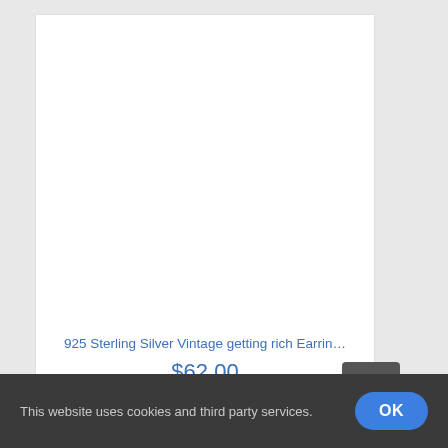[Figure (photo): Blank white product image area (no image loaded)]
925 Sterling Silver Vintage getting rich Earrin…
$62.00
This website uses cookies and third party services.
OK